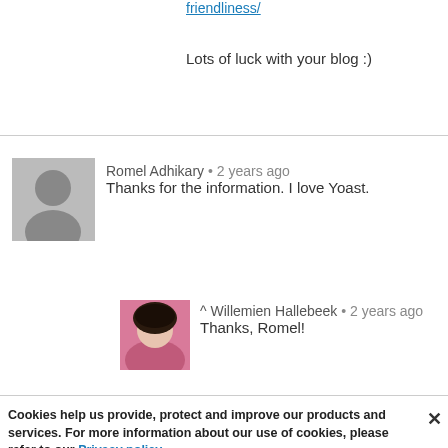friendliness/
Lots of luck with your blog :)
[Figure (photo): Grey silhouette avatar for Romel Adhikary]
Romel Adhikary • 2 years ago
Thanks for the information. I love Yoast.
[Figure (photo): Profile photo of Willemien Hallebeek]
^ Willemien Hallebeek • 2 years ago
Thanks, Romel!
Cookies help us provide, protect and improve our products and services. For more information about our use of cookies, please refer to our Privacy policy.